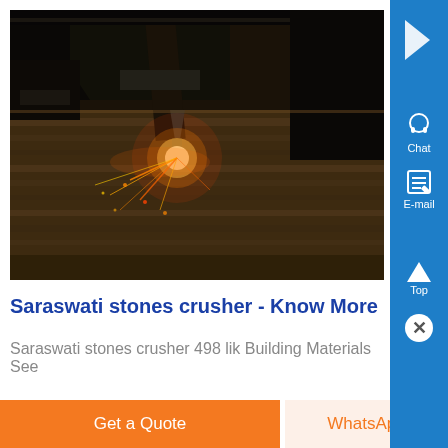[Figure (photo): Industrial laser/plasma cutting machine operating on a metal surface with bright sparks and light at the cutting point, dark workshop environment]
Saraswati stones crusher - Know More
Saraswati stones crusher 498 lik Building Materials See
Get a Quote
WhatsApp